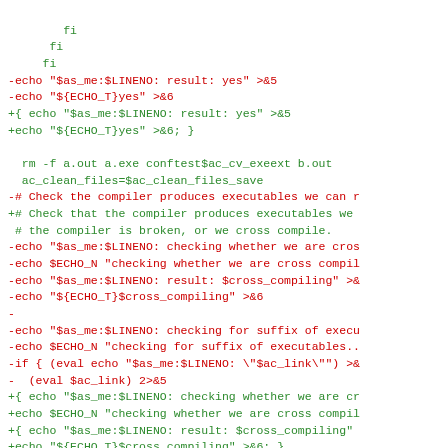diff/patch code block showing changes to a shell configure script